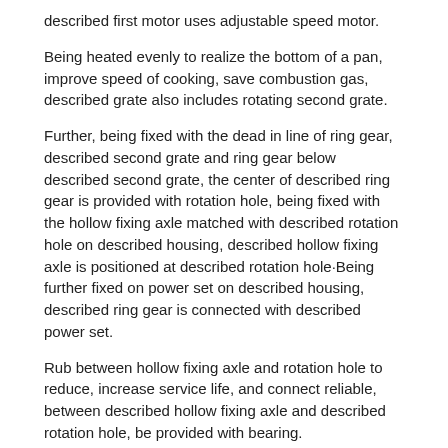described first motor uses adjustable speed motor.
Being heated evenly to realize the bottom of a pan, improve speed of cooking, save combustion gas, described grate also includes rotating second grate.
Further, being fixed with the dead in line of ring gear, described second grate and ring gear below described second grate, the center of described ring gear is provided with rotation hole, being fixed with the hollow fixing axle matched with described rotation hole on described housing, described hollow fixing axle is positioned at described rotation hole·Being further fixed on power set on described housing, described ring gear is connected with described power set.
Rub between hollow fixing axle and rotation hole to reduce, increase service life, and connect reliable, between described hollow fixing axle and described rotation hole, be provided with bearing.
Further, described power set are connected with described ring gear by chain or belt or gear.